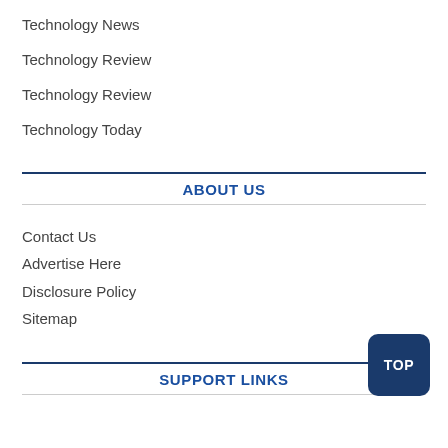Technology News
Technology Review
Technology Review
Technology Today
ABOUT US
Contact Us
Advertise Here
Disclosure Policy
Sitemap
SUPPORT LINKS